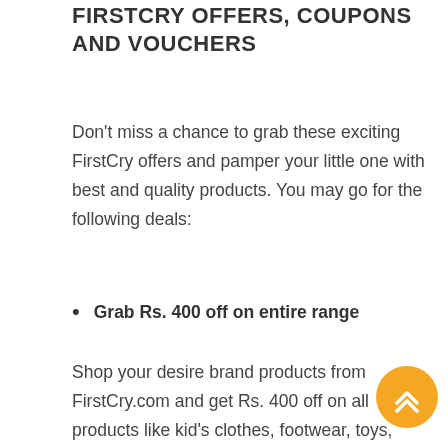FIRSTCRY OFFERS, COUPONS AND VOUCHERS
Don't miss a chance to grab these exciting FirstCry offers and pamper your little one with best and quality products. You may go for the following deals:
Grab Rs. 400 off on entire range
Shop your desire brand products from FirstCry.com and get Rs. 400 off on all products like kid's clothes, footwear, toys, books, feeding products and many more things. With this you will get free home delivery facility and also you